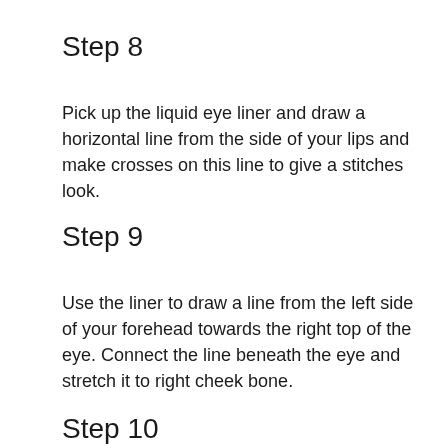Step 8
Pick up the liquid eye liner and draw a horizontal line from the side of your lips and make crosses on this line to give a stitches look.
Step 9
Use the liner to draw a line from the left side of your forehead towards the right top of the eye. Connect the line beneath the eye and stretch it to right cheek bone.
Step 10
Make small crosses on the line to give it a